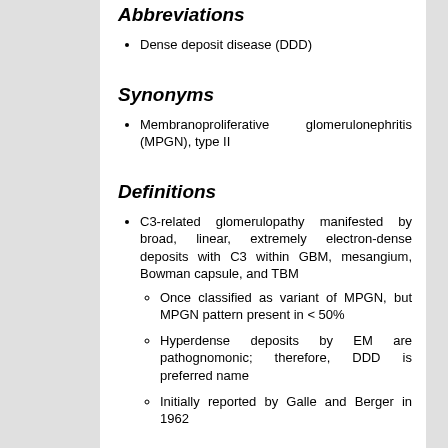Abbreviations
Dense deposit disease (DDD)
Synonyms
Membranoproliferative glomerulonephritis (MPGN), type II
Definitions
C3-related glomerulopathy manifested by broad, linear, extremely electron-dense deposits with C3 within GBM, mesangium, Bowman capsule, and TBM
Once classified as variant of MPGN, but MPGN pattern present in < 50%
Hyperdense deposits by EM are pathognomonic; therefore, DDD is preferred name
Initially reported by Galle and Berger in 1962